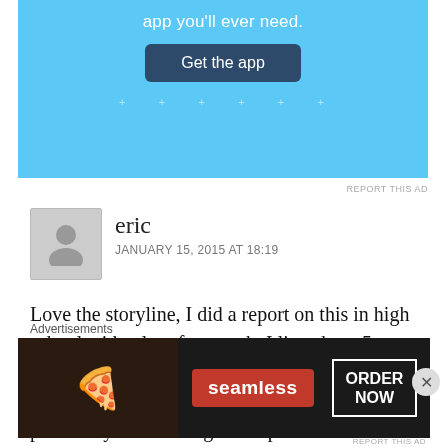[Figure (screenshot): Blue advertisement banner with text 'app you'll ever need.' and a dark blue 'Get the app' button]
REPORT THIS AD
[Figure (photo): Grey avatar silhouette placeholder for user 'eric']
eric
JANUARY 15, 2015 AT 18:19
Love the storyline, I did a report on this in high school with a lot of research. I live about 5 miles from the crash site and have been there numerous times . I also spoke with Mr. Green personally while doing this report and stated that it was a night that he will never forget.... it was insane he said... I believe and trust this man in
Advertisements
[Figure (screenshot): Seamless food delivery advertisement banner with pizza image, seamless logo in red, and ORDER NOW button]